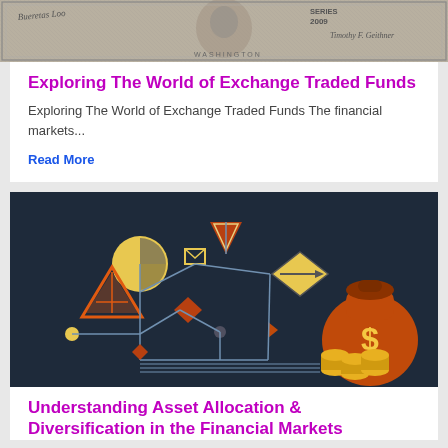[Figure (photo): Close-up of a US dollar bill showing engraved portrait, signatures, and series text (SERIES 2009, Timothy F. Geithner)]
Exploring The World of Exchange Traded Funds
Exploring The World of Exchange Traded Funds The financial markets...
Read More
[Figure (illustration): Dark navy background illustration showing financial investment concept with icons: pie chart circle, money bag with dollar sign, gold coins, triangles, diamond shapes, and connecting lines forming a network/tree structure in orange/gold tones]
Understanding Asset Allocation & Diversification in the Financial Markets